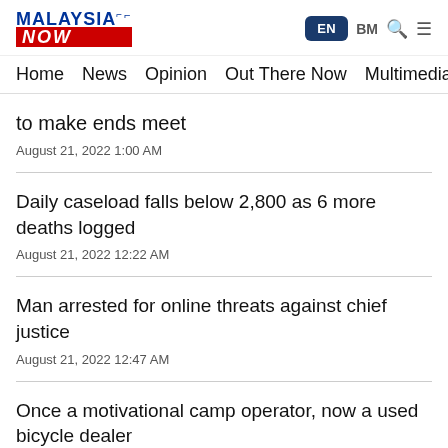MalaysiaNow — EN BM
Home   News   Opinion   Out There Now   Multimedia
to make ends meet
August 21, 2022 1:00 AM
Daily caseload falls below 2,800 as 6 more deaths logged
August 21, 2022 12:22 AM
Man arrested for online threats against chief justice
August 21, 2022 12:47 AM
Once a motivational camp operator, now a used bicycle dealer